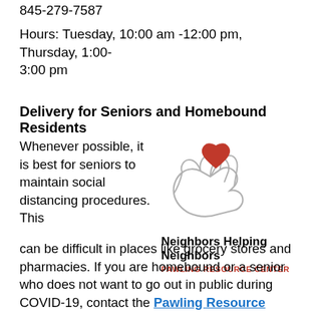845-279-7587
Hours: Tuesday, 10:00 am -12:00 pm, Thursday, 1:00-3:00 pm
Delivery for Seniors and Homebound Residents
Whenever possible, it is best for seniors to maintain social distancing procedures. This can be difficult in places like grocery stores and pharmacies. If you are homebound or a senior who does not want to go out in public during COVID-19, contact the Pawling Resource Center. They can go shopping and set up home delivery for those in need at no cost. The Pawling
[Figure (logo): Neighbors Helping Neighbors Pawling Resource Center logo with a hand holding a red heart]